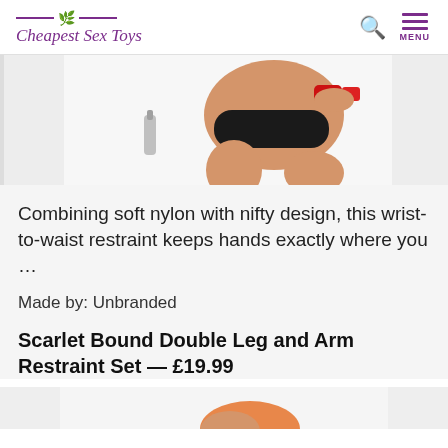Cheapest Sex Toys
[Figure (photo): Partial view of a person in black underwear with red restraints on wrists, crouched down, product photography style on white background]
Combining soft nylon with nifty design, this wrist-to-waist restraint keeps hands exactly where you …
Made by: Unbranded
Scarlet Bound Double Leg and Arm Restraint Set — £19.99
[Figure (photo): Bottom portion of next product image, partially visible]